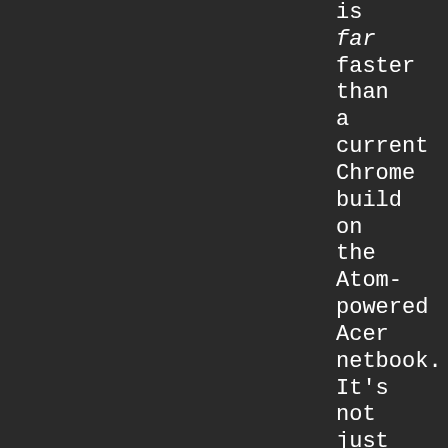is far faster than a current Chrome build on the Atom-powered Acer netbook. It's not just the speed, though. There is something